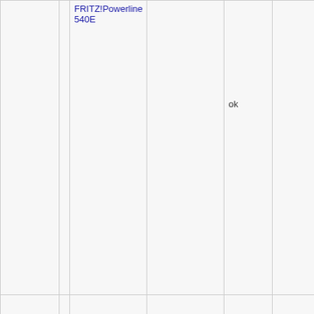|  | FRITZ!Powerline 540E |  | ok |  |
|  |  |  |  |  |